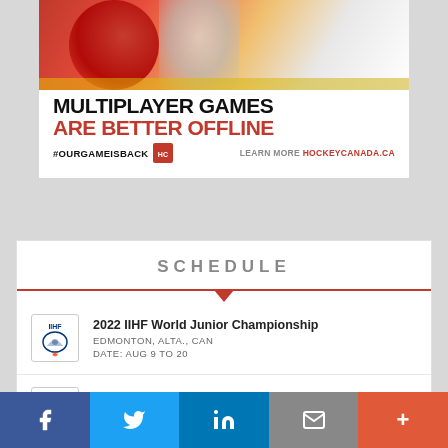[Figure (photo): Hockey Canada advertisement banner showing hockey players, with text 'MULTIPLAYER GAMES ARE BETTER OFFLINE', '#OURGAMEISBACK' hashtag with Hockey Canada logo, and 'LEARN MORE HOCKEYCANADA.CA']
SCHEDULE
2022 IIHF World Junior Championship
EDMONTON, ALTA., CAN
DATE: AUG 9 TO 20
2022 IIHF Women's World Championship
[Figure (other): Social share bar with Facebook, Twitter, LinkedIn, Email, and More buttons]